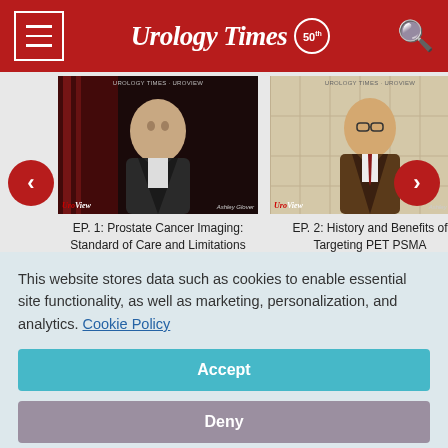Urology Times 50
[Figure (screenshot): Video thumbnail 1: Person in dark suit against red/dark background. UroView branding. EP. 1: Prostate Cancer Imaging: Standard of Care and Limitations]
EP. 1: Prostate Cancer Imaging: Standard of Care and Limitations
[Figure (screenshot): Video thumbnail 2: Person in brown suit against light paneled background. UroView branding. EP. 2: History and Benefits of Targeting PET PSMA]
EP. 2: History and Benefits of Targeting PET PSMA
Phillip Kuo, MD, PhD: If I could get your input, Dr. Abreu, on
This website stores data such as cookies to enable essential site functionality, as well as marketing, personalization, and analytics. Cookie Policy
Accept
Deny